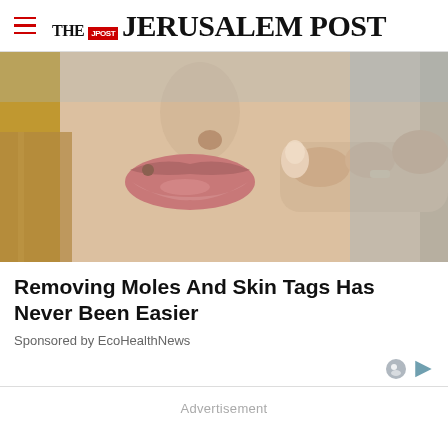THE JERUSALEM POST
[Figure (photo): Close-up photo of a person's lower face showing lips and nose area, with a finger touching the lip area, a mole visible near the mouth]
Removing Moles And Skin Tags Has Never Been Easier
Sponsored by EcoHealthNews
Advertisement